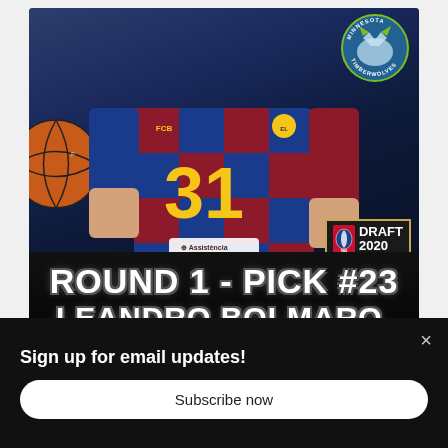[Figure (photo): NBA Draft 2020 promotional card showing basketball player Leandro Bolmaro wearing FC Barcelona jersey number 31 in blue and red checkered pattern, holding a basketball, with Minnesota Timberwolves logo in top right corner and NBA Draft 2020 badge in lower right. Black banner at bottom reads ROUND 1 - PICK #23 and LEANDRO BOLMARO, PG in large white stylized font.]
Sign up for email updates!
Subscribe now